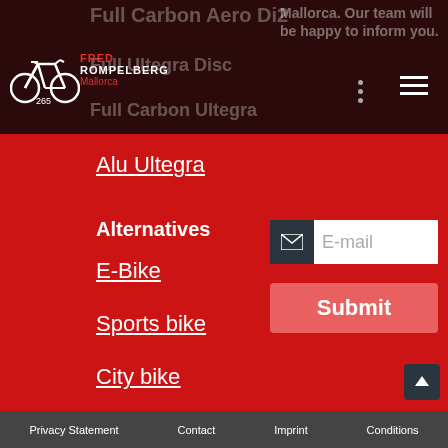Full Carbon Aero Di2 | Full Ultegra Disc | Full Carbon Ultegra | Fred Rompelberg Mallorca
Mallorca. Our team will be happy to inform you.
Alu Ultegra
Alternatives
E-Bike
Sports bike
City bike
Tandem bike
E-mail
Submit
Travel agency login
Bike sales
Carefree travel thanks to:
Privacy Statement   Contact   Imprint   Conditions